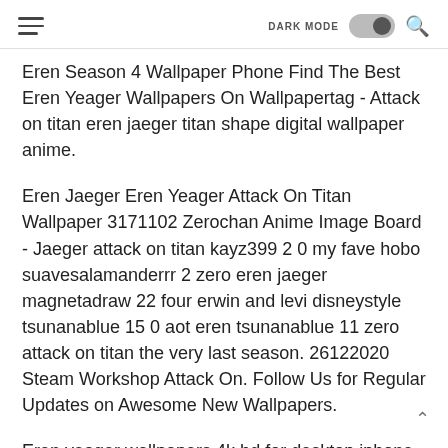DARK MODE [toggle] [search]
Eren Season 4 Wallpaper Phone Find The Best Eren Yeager Wallpapers On Wallpapertag - Attack on titan eren jaeger titan shape digital wallpaper anime.
Eren Jaeger Eren Yeager Attack On Titan Wallpaper 3171102 Zerochan Anime Image Board - Jaeger attack on titan kayz399 2 0 my fave hobo suavesalamanderrr 2 zero eren jaeger magnetadraw 22 four erwin and levi disneystyle tsunanablue 15 0 aot eren tsunanablue 11 zero attack on titan the very last season. 26122020 Steam Workshop Attack On. Follow Us for Regular Updates on Awesome New Wallpapers.
Eren yeager wallpapers 4k hd for desktop iphone computer computer computer android telephone telephone imac macbook tablet cellular device. Tons of